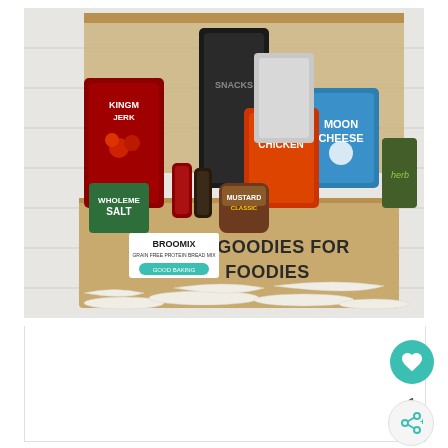[Figure (photo): An open cardboard subscription box filled with keto-friendly artisan food products including Moon Cheese, King meat jerky, Broomix grain-free protein bread mix, hot sauce bottles, mustard, and other snacks. The front of the box reads 'ARTISAN GOODIES FOR KETO FOODIES' in bold black letters. Items are displayed on white shredded paper packing material against a white wood background.]